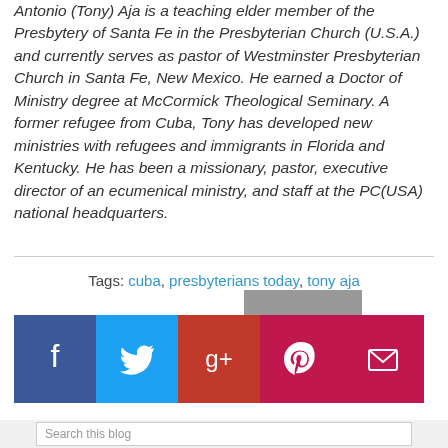Antonio (Tony) Aja is a teaching elder member of the Presbytery of Santa Fe in the Presbyterian Church (U.S.A.) and currently serves as pastor of Westminster Presbyterian Church in Santa Fe, New Mexico. He earned a Doctor of Ministry degree at McCormick Theological Seminary. A former refugee from Cuba, Tony has developed new ministries with refugees and immigrants in Florida and Kentucky. He has been a missionary, pastor, executive director of an ecumenical ministry, and staff at the PC(USA) national headquarters.
Tags: cuba, presbyterians today, tony aja
[Figure (infographic): Social media share buttons: Facebook (blue), Twitter (blue), Google+ (red), Pinterest (dark red/pink), Email (dark red/pink), and a Print button (gray) slightly above and overlapping]